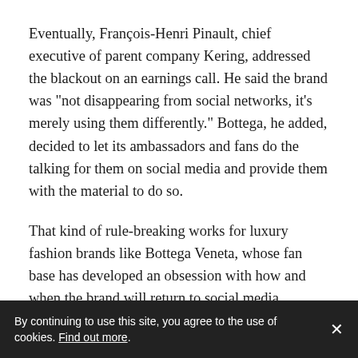Eventually, François-Henri Pinault, chief executive of parent company Kering, addressed the blackout on an earnings call. He said the brand was "not disappearing from social networks, it's merely using them differently." Bottega, he added, decided to let its ambassadors and fans do the talking for them on social media and provide them with the material to do so.
That kind of rule-breaking works for luxury fashion brands like Bottega Veneta, whose fan base has developed an obsession with how and when the brand will return to social media, creating unofficial accounts like @newbottega in the meantime, Taichman pointed out.
But the tactic may not be as effective in beauty, where
By continuing to use this site, you agree to the use of cookies. Find out more.